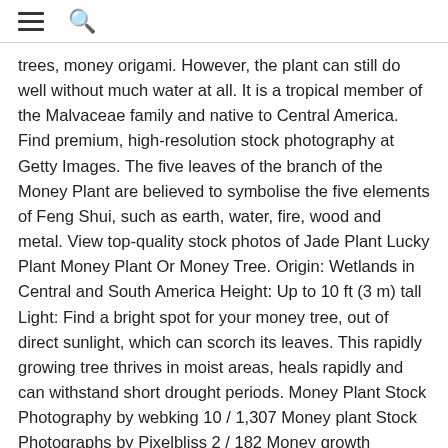☰ 🔍
trees, money origami. However, the plant can still do well without much water at all. It is a tropical member of the Malvaceae family and native to Central America. Find premium, high-resolution stock photography at Getty Images. The five leaves of the branch of the Money Plant are believed to symbolise the five elements of Feng Shui, such as earth, water, fire, wood and metal. View top-quality stock photos of Jade Plant Lucky Plant Money Plant Or Money Tree. Origin: Wetlands in Central and South America Height: Up to 10 ft (3 m) tall Light: Find a bright spot for your money tree, out of direct sunlight, which can scorch its leaves. This rapidly growing tree thrives in moist areas, heals rapidly and can withstand short drought periods. Money Plant Stock Photography by webking 10 / 1,307 Money plant Stock Photographs by Pixelbliss 2 / 182 Money growth concept Stock Photo by lightkeeper 14 / 641 Businessman and a plant of money Stock Photos by alphaspirit 23 / 582 Money Tree Stock Image by sonofpromise 9 / 418 Growing plant step Stock Photos by hin255 24 / 237 Growing Money Rose. Free for commercial